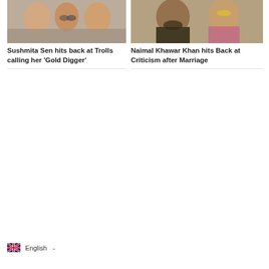[Figure (photo): Group selfie photo of people smiling outdoors, left card]
Sushmita Sen hits back at Trolls calling her 'Gold Digger'
[Figure (photo): Man with beard and woman in traditional outfit, right card]
Naimal Khawar Khan hits Back at Criticism after Marriage
English